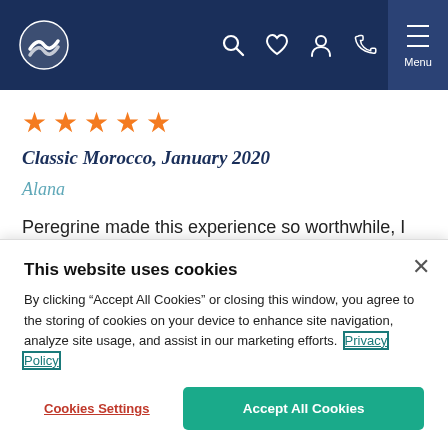Navigation bar with Peregrine Adventures logo, search, wishlist, account, phone, and menu icons
[Figure (other): Five orange star rating icons]
Classic Morocco, January 2020
Alana
Peregrine made this experience so worthwhile, I cannot imagine getting the same experience if we did this independently. The trip leader, the driver and the city guides were all so knowledgeable and passionate about their country. I cannot recommend this trip enough!
This website uses cookies
By clicking “Accept All Cookies” or closing this window, you agree to the storing of cookies on your device to enhance site navigation, analyze site usage, and assist in our marketing efforts. Privacy Policy